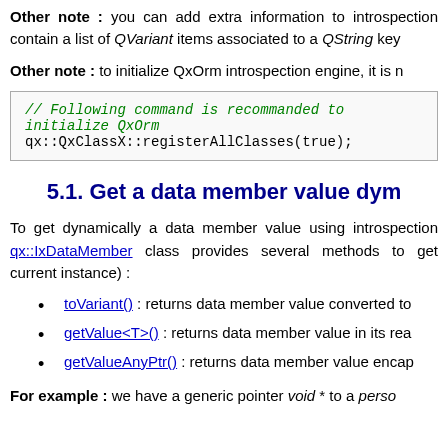Other note : you can add extra information to introspection... contain a list of QVariant items associated to a QString key
Other note : to initialize QxOrm introspection engine, it is n...
[Figure (screenshot): Code box with comment '// Following command is recommanded to initialize QxOrm' and code 'qx::QxClassX::registerAllClasses(true);']
5.1. Get a data member value dym...
To get dynamically a data member value using intro... qx::IxDataMember class provides several methods to get... current instance) :
toVariant() : returns data member value converted to...
getValue<T>() : returns data member value in its real...
getValueAnyPtr() : returns data member value encap...
For example : we have a generic pointer void * to a perso...